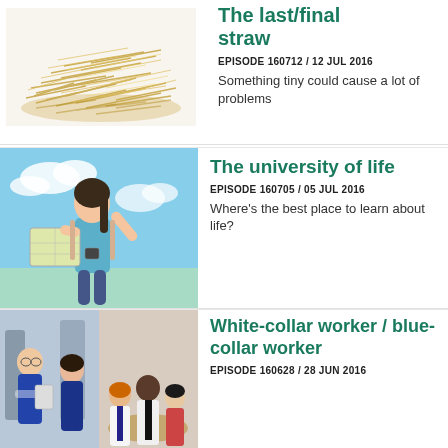[Figure (photo): A pile of golden straw/hay on a white background]
The last/final straw
EPISODE 160712 / 12 JUL 2016
Something tiny could cause a lot of problems
[Figure (photo): A young Asian woman standing outdoors holding a map, raising one hand to shade her eyes, with a blue sky background, wearing a backpack]
The university of life
EPISODE 160705 / 05 JUL 2016
Where's the best place to learn about life?
[Figure (photo): Collage of two workplace scenes: left shows workers in blue lab coats in an industrial setting, right shows a diverse group of office workers in a meeting around a table]
White-collar worker / blue-collar worker
EPISODE 160628 / 28 JUN 2016